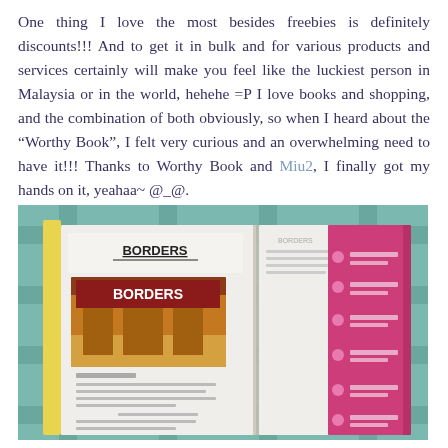One thing I love the most besides freebies is definitely discounts!!! And to get it in bulk and for various products and services certainly will make you feel like the luckiest person in Malaysia or in the world, hehehe =P I love books and shopping, and the combination of both obviously, so when I heard about the "Worthy Book", I felt very curious and an overwhelming need to have it!!! Thanks to Worthy Book and Miu2, I finally got my hands on it, yeahaa~ @_@.
[Figure (photo): Photo of an open book/directory showing two pages. Left page shows a Borders bookstore entry with the Borders logo and storefront image. Right page shows a pink-colored section with text entries. The book is lying on a teal/turquoise plaid patterned surface.]